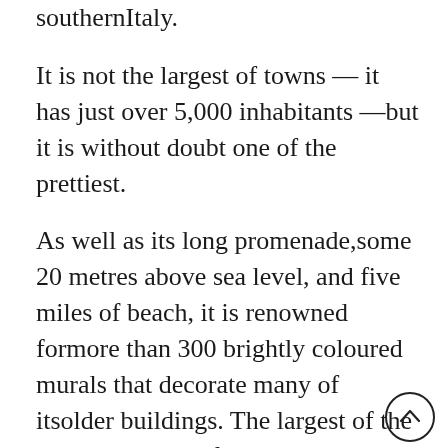southernItaly.
It is not the largest of towns — it has just over 5,000 inhabitants —but it is without doubt one of the prettiest.
As well as its long promenade,some 20 metres above sea level, and five miles of beach, it is renowned formore than 300 brightly coloured murals that decorate many of itsolder buildings. The largest of the murals stretches for over 50 metres andtells the story of the birth of Diamante.
Another mural, on the walls of the